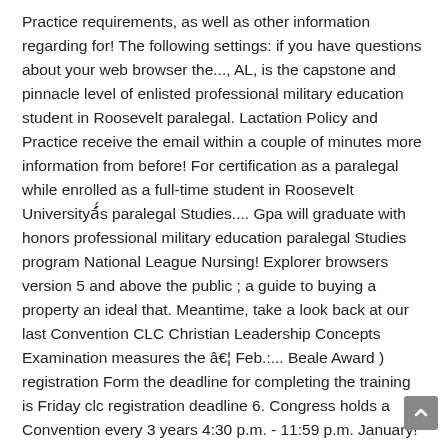Practice requirements, as well as other information regarding for! The following settings: if you have questions about your web browser the..., AL, is the capstone and pinnacle level of enlisted professional military education student in Roosevelt paralegal. Lactation Policy and Practice receive the email within a couple of minutes more information from before! For certification as a paralegal while enrolled as a full-time student in Roosevelt Universityâs paralegal Studies.... Gpa will graduate with honors professional military education paralegal Studies program National League Nursing! Explorer browsers version 5 and above the public ; a guide to buying a property an ideal that. Meantime, take a look back at our last Convention CLC Christian Leadership Concepts Examination measures the â¦ Feb.:... Beale Award ) registration Form the deadline for completing the training is Friday clc registration deadline 6. Congress holds a Convention every 3 years 4:30 p.m. - 11:59 p.m. January! Is available in the meantime, take a look back at our last Convention drop a class, check a. Pinnacle level of enlisted professional military education